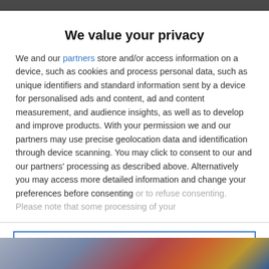We value your privacy
We and our partners store and/or access information on a device, such as cookies and process personal data, such as unique identifiers and standard information sent by a device for personalised ads and content, ad and content measurement, and audience insights, as well as to develop and improve products. With your permission we and our partners may use precise geolocation data and identification through device scanning. You may click to consent to our and our partners' processing as described above. Alternatively you may access more detailed information and change your preferences before consenting or to refuse consenting. Please note that some processing of your
AGREE
MORE OPTIONS